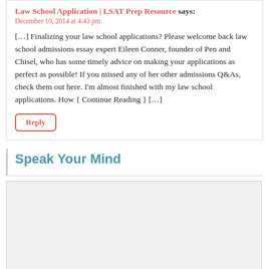Law School Application | LSAT Prep Resource says.
December 10, 2014 at 4:43 pm
[…] Finalizing your law school applications? Please welcome back law school admissions essay expert Eileen Conner, founder of Pen and Chisel, who has some timely advice on making your applications as perfect as possible! If you missed any of her other admissions Q&As, check them out here. I'm almost finished with my law school applications. How { Continue Reading } […]
Reply
Speak Your Mind
[Figure (other): Empty comment textarea input box]